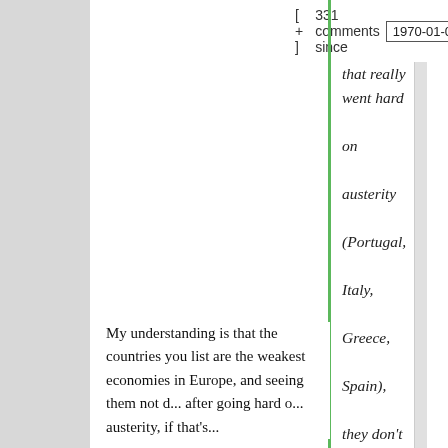[ + ]   331 comments since   1970-01-01 00:0
that really went hard on austerity (Portugal, Italy, Greece, Spain), they don't look so hot.
My understanding is that the countries you list are the weakest economies in Europe, and seeing them not do well after going hard on austerity, if that's...